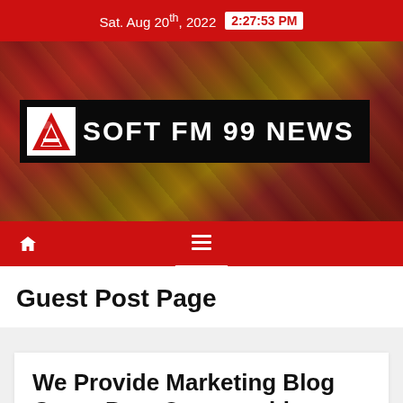Sat. Aug 20th, 2022  2:27:53 PM
[Figure (logo): Soft FM 99 News logo banner with red background abstract art and black bordered logo box containing a red diamond A icon and white bold text 'SOFT FM 99 NEWS']
Navigation bar with home icon and hamburger menu
Guest Post Page
We Provide Marketing Blog Guest Post Opportunities